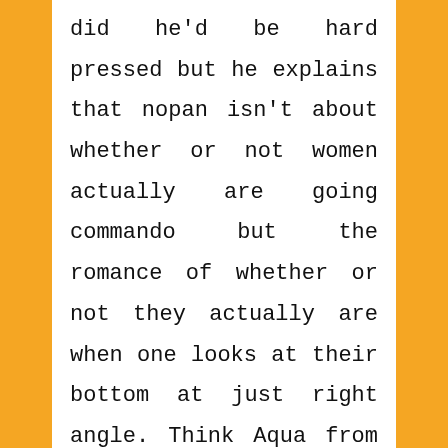did he'd be hard pressed but he explains that nopan isn't about whether or not women actually are going commando but the romance of whether or not they actually are when one looks at their bottom at just right angle. Think Aqua from Konosuba and all those threads of her schrodinger panties. The illustration here is just something he'd figure would work better on Red